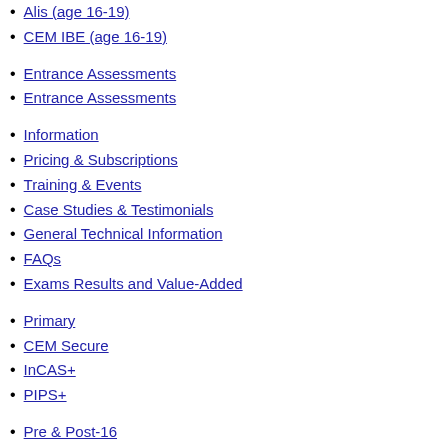Alis (age 16-19)
CEM IBE (age 16-19)
Entrance Assessments
Entrance Assessments
Information
Pricing & Subscriptions
Training & Events
Case Studies & Testimonials
General Technical Information
FAQs
Exams Results and Value-Added
Primary
CEM Secure
InCAS+
PIPS+
Pre & Post-16
Secondary+
Alis+
CEM IBE+
Research